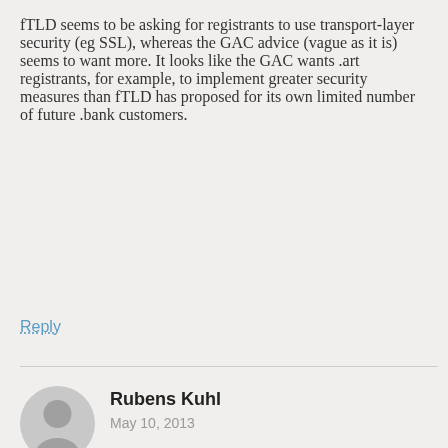fTLD seems to be asking for registrants to use transport-layer security (eg SSL), whereas the GAC advice (vague as it is) seems to want more. It looks like the GAC wants .art registrants, for example, to implement greater security measures than fTLD has proposed for its own limited number of future .bank customers.
Reply
Rubens Kuhl
May 10, 2013
Artemis .secure also has registrant-side security requirements, stricter than .bank. Q30 is indeed about Information Security at the registry, not about eligibility requirements, content enforcement, registrant behavior, or transforming the DNS Industry into World Police.
Reply